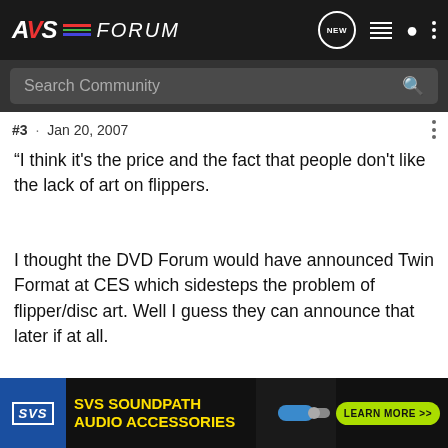AVSForum navigation bar with logo and icons
Search Community
#3 · Jan 20, 2007
“I think it's the price and the fact that people don't like the lack of art on flippers.
I thought the DVD Forum would have announced Twin Format at CES which sidesteps the problem of flipper/disc art. Well I guess they can announce that later if at all.
rhoster · Premium Member
[Figure (screenshot): SVS SoundPath Audio Accessories advertisement banner at bottom of page]